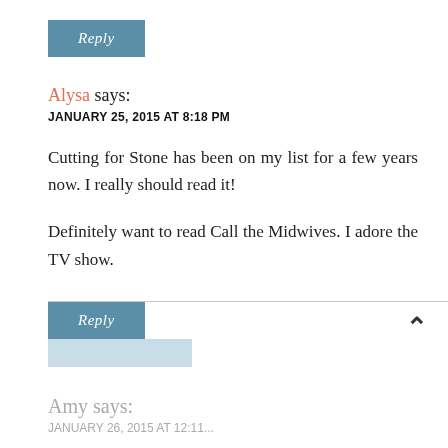[Figure (other): Reply button — teal/steel-blue rectangular button with italic white text 'Reply']
Alysa says:
JANUARY 25, 2015 AT 8:18 PM
Cutting for Stone has been on my list for a few years now. I really should read it!
Definitely want to read Call the Midwives. I adore the TV show.
[Figure (other): Reply button — teal/steel-blue rectangular button with italic white text 'Reply', with a light blue reflection/shadow below it, and an up-arrow chevron on the right side]
Amy says:
JANUARY 26, 2015 AT 12:11...